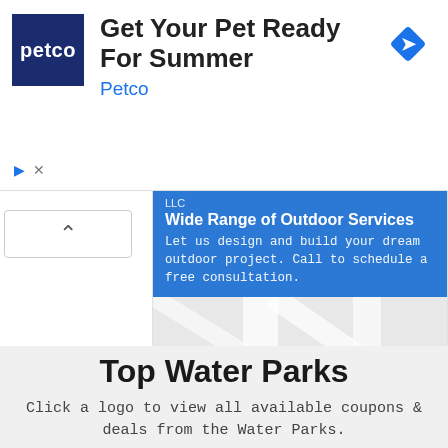[Figure (screenshot): Petco advertisement banner with logo, heading 'Get Your Pet Ready For Summer', subtitle 'Petco', and a blue diamond arrow icon on the right.]
[Figure (screenshot): Google Maps-style map card for an outdoor services business. Shows blue header with 'Wide Range of Outdoor Services' text, a map view with a red location pin, and two action buttons: 'Directions' and 'Call'. A collapse chevron button is on the left side.]
Top Water Parks
Click a logo to view all available coupons & deals from the Water Parks.